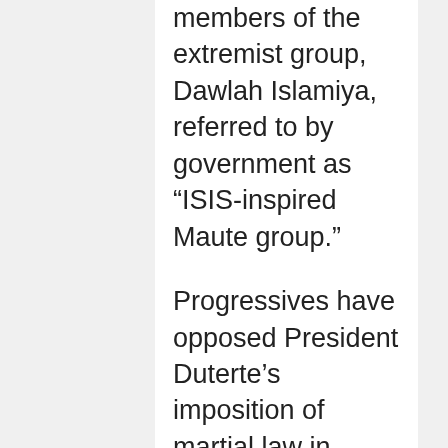members of the extremist group, Dawlah Islamiya, referred to by government as “ISIS-inspired Maute group.”
Progressives have opposed President Duterte’s imposition of martial law in Mindanao, as they cited the grievous human rights record of the military and police, the main oppressive institutions of Martial Law under the 20-year Marcos Dictatorship. Rights abuses continued under succeeding